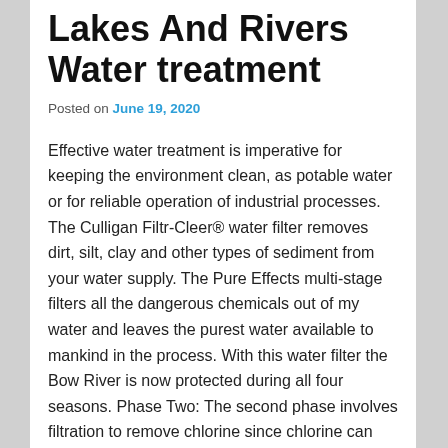Lakes And Rivers Water treatment
Posted on June 19, 2020
Effective water treatment is imperative for keeping the environment clean, as potable water or for reliable operation of industrial processes. The Culligan Filtr-Cleer® water filter removes dirt, silt, clay and other types of sediment from your water supply. The Pure Effects multi-stage filters all the dangerous chemicals out of my water and leaves the purest water available to mankind in the process. With this water filter the Bow River is now protected during all four seasons. Phase Two: The second phase involves filtration to remove chlorine since chlorine can damage thin film-material membranes. Photo: A water treatment plant filters water for reuse by passing dirty water from homes and factories through beds of charcoal and sand. There have been several milestones throughout the years that date back to 2000 BCE on the industrial